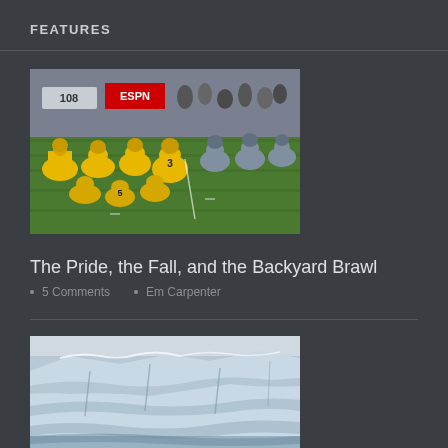FEATURES
[Figure (photo): Football players in yellow uniforms lined up at the line of scrimmage on a green field, with ESPN signage visible in the background stands]
The Pride, the Fall, and the Backyard Brawl
5 Comments  Em Carpenter
[Figure (photo): Snow-covered glacier or ice formation with rugged icy cliffs and bright white ice against a light sky]